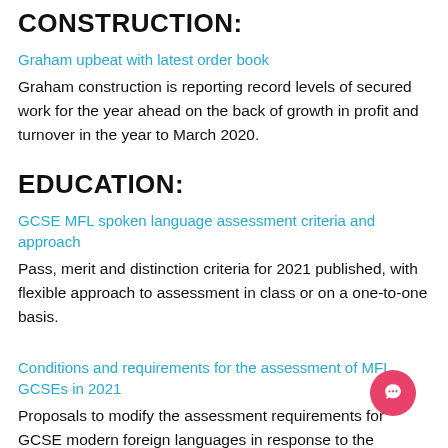CONSTRUCTION:
Graham upbeat with latest order book
Graham construction is reporting record levels of secured work for the year ahead on the back of growth in profit and turnover in the year to March 2020.
EDUCATION:
GCSE MFL spoken language assessment criteria and approach
Pass, merit and distinction criteria for 2021 published, with flexible approach to assessment in class or on a one-to-one basis.
Conditions and requirements for the assessment of MFL GCSEs in 2021
Proposals to modify the assessment requirements for GCSE modern foreign languages in response to the coronavirus